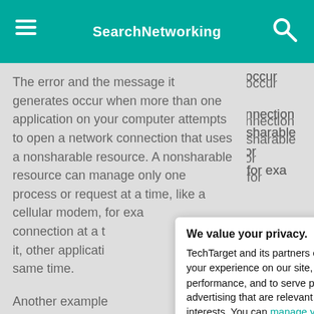SearchNetworking
The error and the message it generates occur when more than one application on your computer attempts to open a network connection that uses a nonsharable resource. A nonsharable resource can manage only one process or request at a time, like a cellular modem, for example. When one application or process is using a connection at a time and it's communicating through it, other applications are blocked from using it at the same time.
Another example involves a conflict caused by a network port used by two different programs or services. If VPN software operates on the same port as another network communication application, and they both try to connect to a remote VPN server at the same time, the organization's data can conflict at the port, rather than the local network
We value your privacy.
TechTarget and its partners employ cookies to improve your experience on our site, to analyze traffic and performance, and to serve personalized content and advertising that are relevant to your professional interests. You can manage your settings at any time. Please view our Privacy Policy for more information